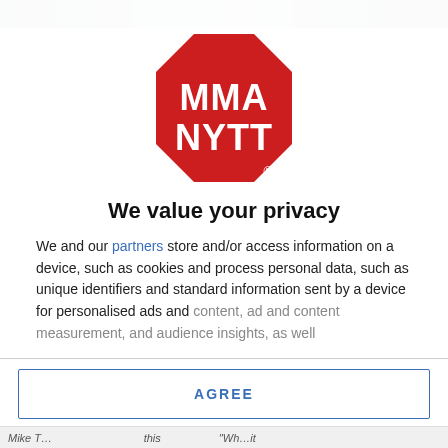[Figure (logo): MMA NYTT logo — red octagon (stop-sign shape) with white text 'MMA' on top line and 'NYTT' on bottom line, with a small registered trademark symbol at bottom right of octagon]
We value your privacy
We and our partners store and/or access information on a device, such as cookies and process personal data, such as unique identifiers and standard information sent by a device for personalised ads and content, ad and content measurement, and audience insights, as well
AGREE
MORE OPTIONS
Mike T...                        ...this                    ..."Wh...it